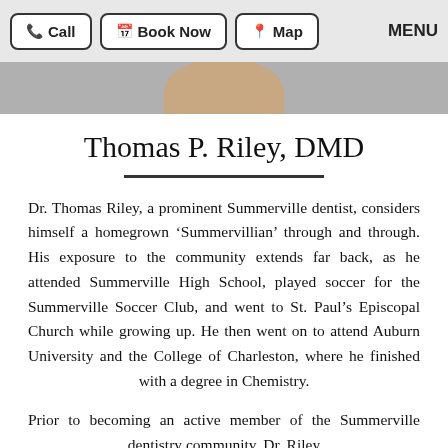Call | Book Now | Map | MENU
[Figure (photo): Partial photo of a person's face/hair visible at top of content area]
Thomas P. Riley, DMD
Dr. Thomas Riley, a prominent Summerville dentist, considers himself a homegrown ‘Summervillian’ through and through. His exposure to the community extends far back, as he attended Summerville High School, played soccer for the Summerville Soccer Club, and went to St. Paul’s Episcopal Church while growing up. He then went on to attend Auburn University and the College of Charleston, where he finished with a degree in Chemistry.
Prior to becoming an active member of the Summerville dentistry community, Dr. Riley